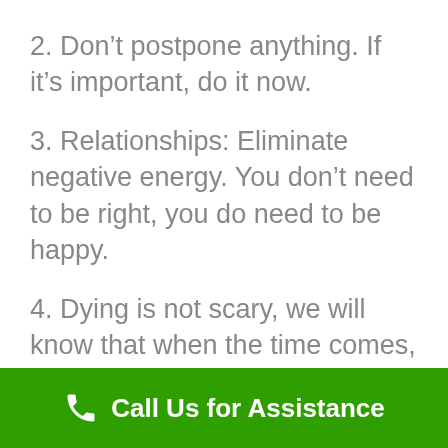2. Don’t postpone anything. If it’s important, do it now.
3. Relationships: Eliminate negative energy. You don’t need to be right, you do need to be happy.
4. Dying is not scary, we will know that when the time comes, until then, forget about it.
5. Be a good parent, a good friend, a good son, a good piece of humanity.
6. Be the best parent you can.
Call Us for Assistance